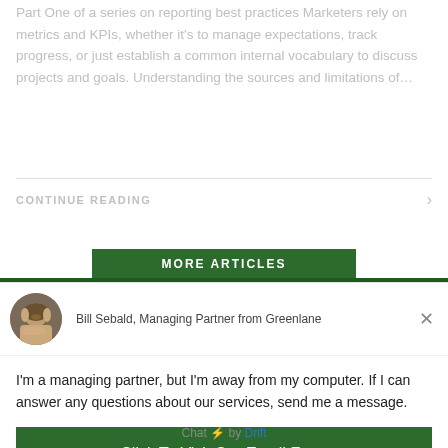Part One of a series on reporting best practices Marketers rely on metrics and KPIs, whether it's to manage expectations, track progress, or just establish a common internal vocabulary to discuss projects and goals. Understanding the sources and limitations of…
CONTINUE READING
MORE ARTICLES
Bill Sebald, Managing Partner from Greenlane
I'm a managing partner, but I'm away from my computer. If I can answer any questions about our services, send me a message.
Click To Visit Our Email Form
Chat ⚡ by Drift